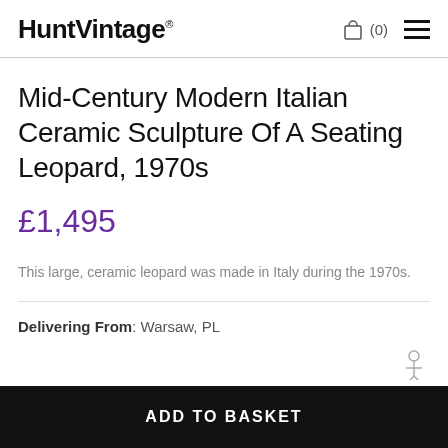HuntVintage® (0)
Mid-Century Modern Italian Ceramic Sculpture Of A Seating Leopard, 1970s
£1,495
This large, ceramic leopard was made in Italy during the 1970s.
Delivering From: Warsaw, PL
ADD TO BASKET